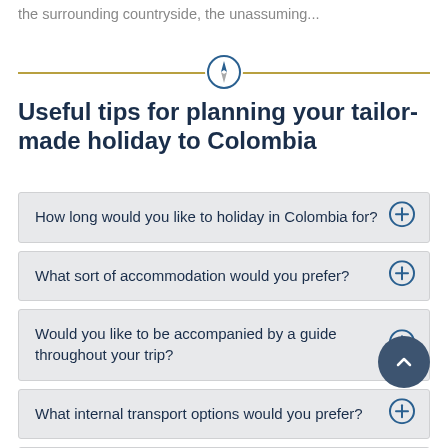the surrounding countryside, the unassuming...
Useful tips for planning your tailor-made holiday to Colombia
How long would you like to holiday in Colombia for?
What sort of accommodation would you prefer?
Would you like to be accompanied by a guide throughout your trip?
What internal transport options would you prefer?
What pace of travel would you be comfortable with?